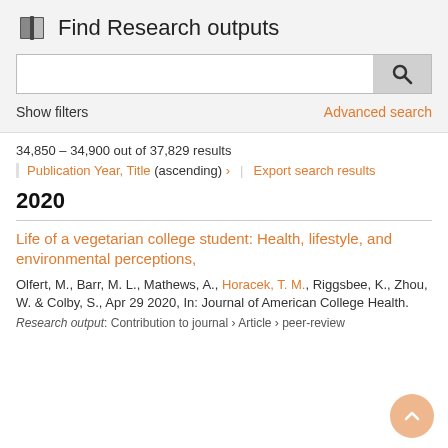Find Research outputs
Show filters
Advanced search
34,850 – 34,900 out of 37,829 results
Publication Year, Title (ascending) ›  |  Export search results
2020
Life of a vegetarian college student: Health, lifestyle, and environmental perceptions,
Olfert, M., Barr, M. L., Mathews, A., Horacek, T. M., Riggsbee, K., Zhou, W. & Colby, S., Apr 29 2020, In: Journal of American College Health.
Research output: Contribution to journal › Article › peer-review